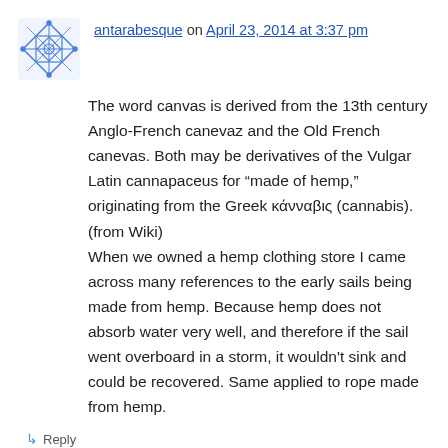antarabesque on April 23, 2014 at 3:37 pm
The word canvas is derived from the 13th century Anglo-French canevaz and the Old French canevas. Both may be derivatives of the Vulgar Latin cannapaceus for “made of hemp,” originating from the Greek κάνναβις (cannabis). (from Wiki)
When we owned a hemp clothing store I came across many references to the early sails being made from hemp. Because hemp does not absorb water very well, and therefore if the sail went overboard in a storm, it wouldn't sink and could be recovered. Same applied to rope made from hemp.
↳ Reply